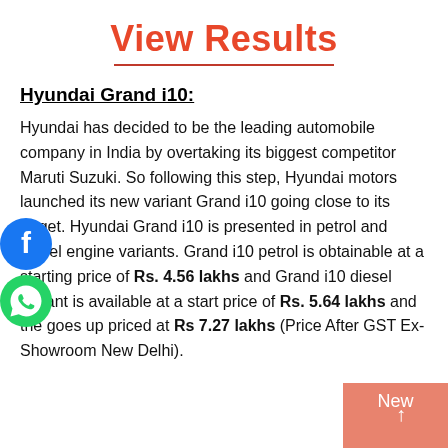View Results
Hyundai Grand i10:
Hyundai has decided to be the leading automobile company in India by overtaking its biggest competitor Maruti Suzuki. So following this step, Hyundai motors launched its new variant Grand i10 going close to its target. Hyundai Grand i10 is presented in petrol and diesel engine variants. Grand i10 petrol is obtainable at a starting price of Rs. 4.56 lakhs and Grand i10 diesel variant is available at a start price of Rs. 5.64 lakhs and the goes up priced at Rs 7.27 lakhs (Price After GST Ex-Showroom New Delhi).